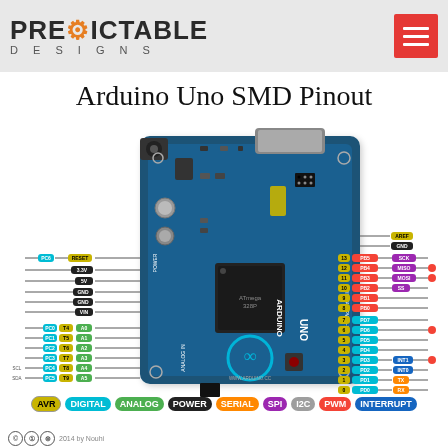PREDICTABLE DESIGNS
Arduino Uno SMD Pinout
[Figure (schematic): Arduino Uno SMD board pinout diagram showing the physical board with labeled pins for power, analog, digital, SPI, I2C, PWM, INTERRUPT, AVR, and serial connections. Left side shows power pins (RESET, 3.3V, 5V, GND, GND, VIN) and analog pins (A0-A5). Right side shows digital pins (PD0-PD7, PB0-PB5) with function labels. Color-coded badges indicate pin function categories.]
AVR  DIGITAL  ANALOG  POWER  SERIAL  SPI  I2C  PWM  INTERRUPT
2014 by Nouhi